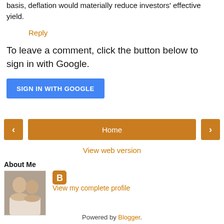basis, deflation would materially reduce investors' effective yield.
Reply
To leave a comment, click the button below to sign in with Google.
[Figure (other): Blue SIGN IN WITH GOOGLE button]
[Figure (other): Navigation bar with left arrow, Home button, and right arrow in orange/brown color]
View web version
About Me
[Figure (photo): Profile photo showing two people]
[Figure (logo): Blogger orange B icon]
View my complete profile
Powered by Blogger.